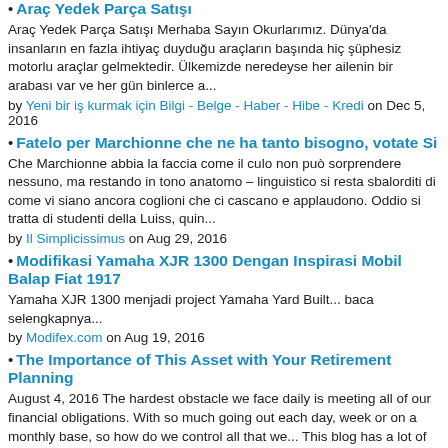Araç Yedek Parça Satışı
Araç Yedek Parça Satışı Merhaba Sayın Okurlarımız. Dünya'da insanların en fazla ihtiyaç duyduğu araçların başında hiç şüphesiz motorlu araçlar gelmektedir. Ülkemizde neredeyse her ailenin bir arabası var ve her gün binlerce a...
by Yeni bir iş kurmak için Bilgi - Belge - Haber - Hibe - Kredi on Dec 5, 2016
Fatelo per Marchionne che ne ha tanto bisogno, votate Si
Che Marchionne abbia la faccia come il culo non può sorprendere nessuno, ma restando in tono anatomo – linguistico si resta sbalorditi di come vi siano ancora coglioni che ci cascano e applaudono. Oddio si tratta di studenti della Luiss, quin...
by Il Simplicissimus on Aug 29, 2016
Modifikasi Yamaha XJR 1300 Dengan Inspirasi Mobil Balap Fiat 1917
Yamaha XJR 1300 menjadi project Yamaha Yard Built... baca selengkapnya...
by Modifex.com on Aug 19, 2016
The Importance of This Asset with Your Retirement Planning
August 4, 2016 The hardest obstacle we face daily is meeting all of our financial obligations. With so much going out each day, week or on a monthly base, so how do we control all that we... This blog has a lot of information regarding social...
by JFBMarketing at APSense on Aug 5, 2016
Fiat Ağustos 2016 Araba Kampanyaları